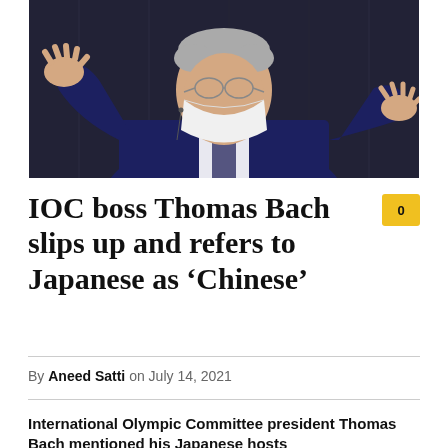[Figure (photo): Man in dark suit wearing a white face mask, gesturing with both hands open, speaking at an event. Dark background. This is IOC President Thomas Bach.]
IOC boss Thomas Bach slips up and refers to Japanese as ‘Chinese’
By Aneed Satti on July 14, 2021
International Olympic Committee president Thomas Bach mentioned his Japanese hosts